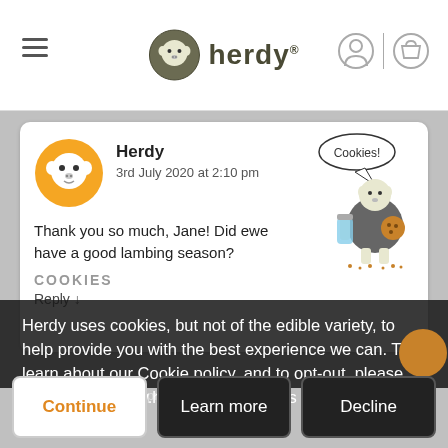[Figure (logo): Herdy brand logo with sheep icon and text]
Herdy
3rd July 2020 at 2:10 pm
[Figure (illustration): Herdy sheep character holding cookies with speech bubble saying Cookies!]
Thank you so much, Jane! Did ewe have a good lambing season?
COOKIES
Reply ↓
Herdy uses cookies, but not of the edible variety, to help provide you with the best experience we can. To learn about our Cookie policy, and to opt-out, please go to https://www.herdy.co.uk/cookies
3rd July 2020 at 4:03 pm
Continue
Learn more
Decline